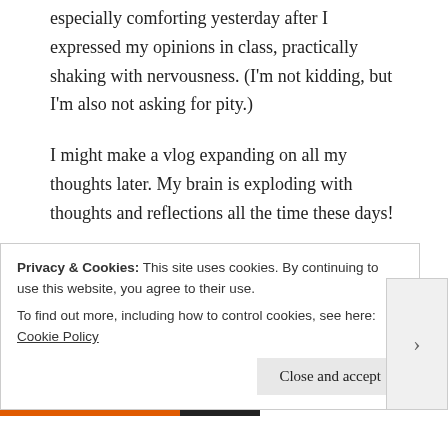especially comforting yesterday after I expressed my opinions in class, practically shaking with nervousness. (I'm not kidding, but I'm also not asking for pity.)
I might make a vlog expanding on all my thoughts later. My brain is exploding with thoughts and reflections all the time these days!
Anyway, let's get back to food for some relief from this rather serious topic. Dinner this week has been pork chops with sautéed onions, potatoes with red pesto, and roasted broccoli. A delicious and satisfying meal. Yay for fats!
Privacy & Cookies: This site uses cookies. By continuing to use this website, you agree to their use. To find out more, including how to control cookies, see here: Cookie Policy